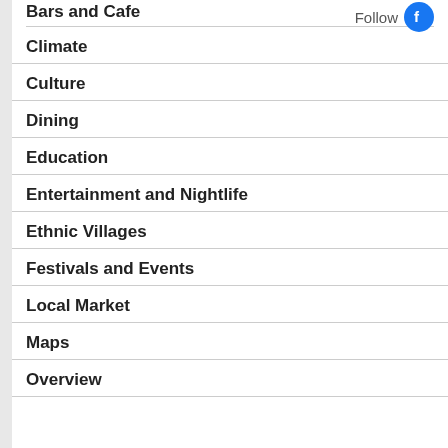Bars and Cafe
Climate
Culture
Dining
Education
Entertainment and Nightlife
Ethnic Villages
Festivals and Events
Local Market
Maps
Overview